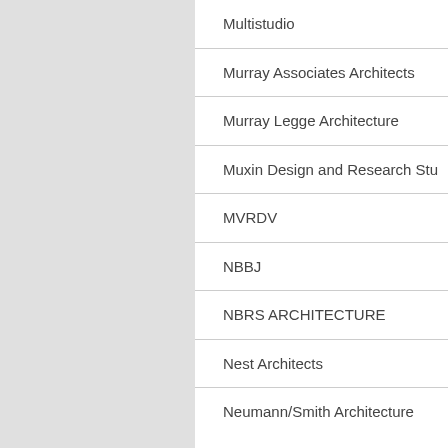Multistudio
Murray Associates Architects
Murray Legge Architecture
Muxin Design and Research Stu
MVRDV
NBBJ
NBRS ARCHITECTURE
Nest Architects
Neumann/Smith Architecture